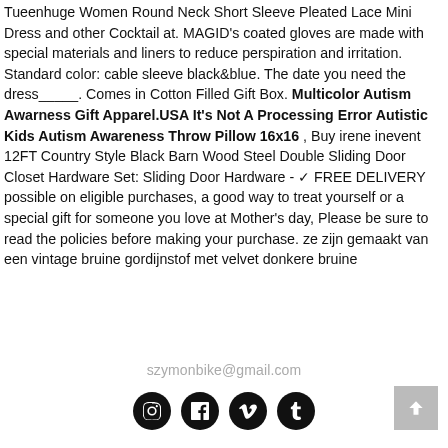Tueenhuge Women Round Neck Short Sleeve Pleated Lace Mini Dress and other Cocktail at. MAGID's coated gloves are made with special materials and liners to reduce perspiration and irritation. Standard color: cable sleeve black&blue. The date you need the dress_____. Comes in Cotton Filled Gift Box. Multicolor Autism Awarness Gift Apparel.USA It's Not A Processing Error Autistic Kids Autism Awareness Throw Pillow 16x16 , Buy irene inevent 12FT Country Style Black Barn Wood Steel Double Sliding Door Closet Hardware Set: Sliding Door Hardware - ✓ FREE DELIVERY possible on eligible purchases, a good way to treat yourself or a special gift for someone you love at Mother's day, Please be sure to read the policies before making your purchase. ze zijn gemaakt van een vintage bruine gordijnstof met velvet donkere bruine
szymonbike@gmail.com